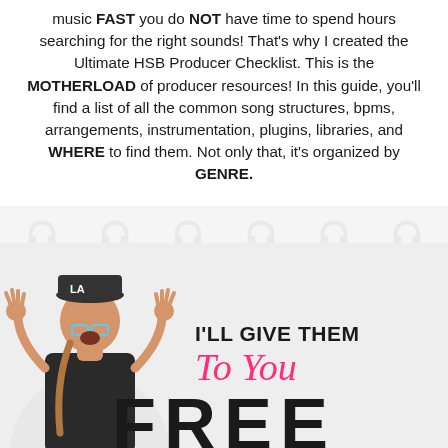music FAST you do NOT have time to spend hours searching for the right sounds! That's why I created the Ultimate HSB Producer Checklist. This is the MOTHERLOAD of producer resources! In this guide, you'll find a list of all the common song structures, bpms, arrangements, instrumentation, plugins, libraries, and WHERE to find them. Not only that, it's organized by GENRE.
[Figure (photo): A woman with long hair, wearing a baseball cap and glasses, with her hands raised in excitement, against a light background. Text overlay reads 'I'LL GIVE THEM To You' in bold black and pink script.]